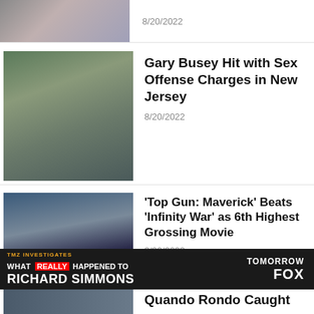[Figure (photo): Partially visible photo of two people at top of page]
8/20/2022
[Figure (photo): Photo of Gary Busey, older man with grey hair]
Gary Busey Hit with Sex Offense Charges in New Jersey
8/20/2022
[Figure (photo): Photo of Tom Cruise and Thanos character from Avengers]
'Top Gun: Maverick' Beats 'Infinity War' as 6th Highest Grossing Movie
8/20/2022
[Figure (infographic): TMZ Investigates advertisement: What REALLY Happened to Richard Simmons — Tomorrow FOX]
[Figure (photo): Partially visible photo at bottom]
Quando Rondo Caught